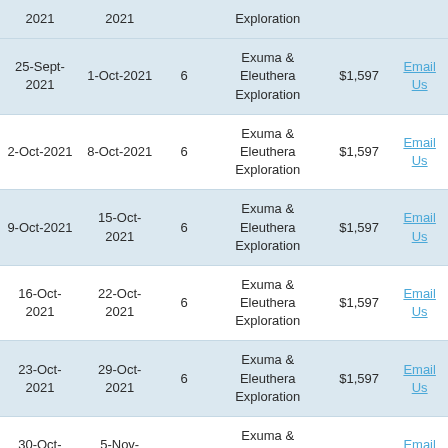| Start | End | Days | Trip | Price |  |
| --- | --- | --- | --- | --- | --- |
| 2021 | 2021 |  | Exploration |  |  |
| 25-Sept-2021 | 1-Oct-2021 | 6 | Exuma & Eleuthera Exploration | $1,597 | Email Us |
| 2-Oct-2021 | 8-Oct-2021 | 6 | Exuma & Eleuthera Exploration | $1,597 | Email Us |
| 9-Oct-2021 | 15-Oct-2021 | 6 | Exuma & Eleuthera Exploration | $1,597 | Email Us |
| 16-Oct-2021 | 22-Oct-2021 | 6 | Exuma & Eleuthera Exploration | $1,597 | Email Us |
| 23-Oct-2021 | 29-Oct-2021 | 6 | Exuma & Eleuthera Exploration | $1,597 | Email Us |
| 30-Oct-2021 | 5-Nov-2021 | 6 | Exuma & Eleuthera Exploration | $1,597 | Email Us |
| 6-Nov- | 12-Nov- |  | Exuma & |  |  |